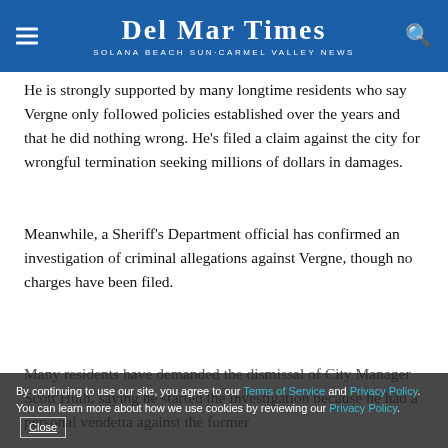Del Mar Times — Solana Beach Sun·Carmel Valley News
He is strongly supported by many longtime residents who say Vergne only followed policies established over the years and that he did nothing wrong. He's filed a claim against the city for wrongful termination seeking millions of dollars in damages.
Meanwhile, a Sheriff's Department official has confirmed an investigation of criminal allegations against Vergne, though no charges have been filed.
Many residents have demanded the dismissal of City Manager Scott Huth, saying he started the investigation because he had a personal vendetta against the former chief lite...
By continuing to use our site, you agree to our Terms of Service and Privacy Policy. You can learn more about how we use cookies by reviewing our Privacy Policy. Close